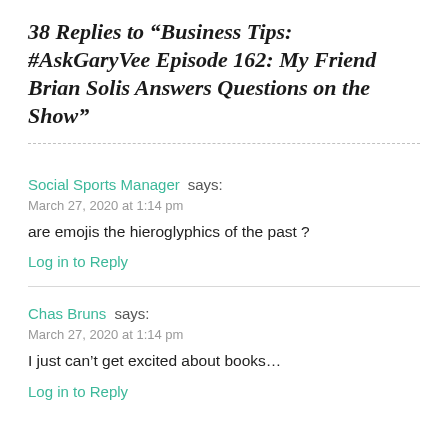38 Replies to “Business Tips: #AskGaryVee Episode 162: My Friend Brian Solis Answers Questions on the Show”
Social Sports Manager says:
March 27, 2020 at 1:14 pm
are emojis the hieroglyphics of the past ?
Log in to Reply
Chas Bruns says:
March 27, 2020 at 1:14 pm
I just can’t get excited about books...
Log in to Reply